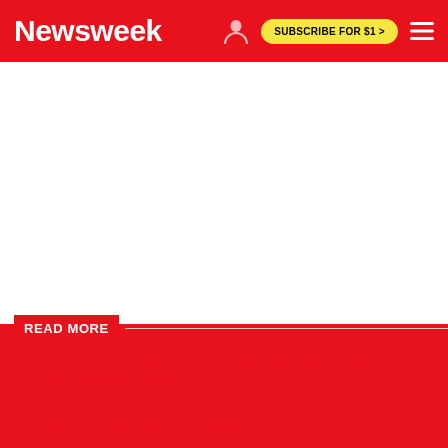Newsweek | SUBSCRIBE FOR $1 >
[Figure (other): White advertisement/blank area below the Newsweek header navigation bar]
READ MORE
Johnny Depp Details Gory Fingertip Incident, Said He Lied to Protect Heard
Clips of Johnny Depp Accusing Amber Heard of